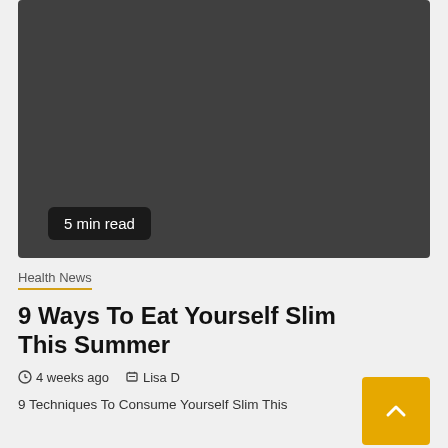[Figure (photo): Dark grey placeholder image area for article hero photo]
5 min read
Health News
9 Ways To Eat Yourself Slim This Summer
4 weeks ago   Lisa D
9 Techniques To Consume Yourself Slim This Summer...